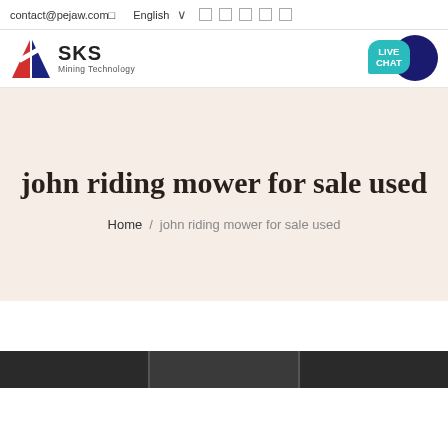contact@pejaw.com  English  ▾
[Figure (logo): SKS Mining Technology logo with red/blue geometric S icon]
[Figure (other): LIVE CHAT bubble with dark blue circle behind it]
john riding mower for sale used
Home / john riding mower for sale used
[Figure (photo): Dark image strip at bottom, partially visible product photos]